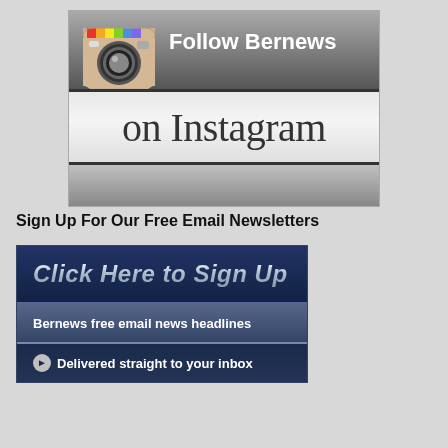[Figure (screenshot): Instagram follow banner for Bernews with Instagram camera icon on left and 'Follow Bernews' text on dark bar, 'on Instagram' text in large serif font below]
Sign Up For Our Free Email Newsletters
[Figure (screenshot): Dark blue email signup banner with 'Click Here to Sign Up' in large italic text, 'Bernews free email news headlines' row, and 'Delivered straight to your inbox' row with arrow circle icon]